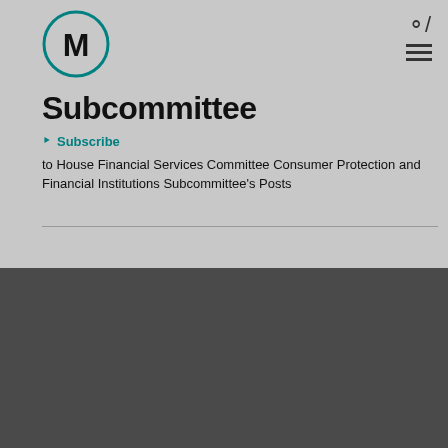[Figure (logo): Circle logo with M letter inside, teal outline]
Subcommittee
Subscribe to House Financial Services Committee Consumer Protection and Financial Institutions Subcommittee's Posts
Your privacy is important to us.
We use cookies to ensure the performance and security of our website, and, where permitted, to monitor website use and usability for business and website optimization purposes. For further information on the cookies we use, please click on "Cookie Settings". You can adjust your cookie settings at any time by selecting "Cookie Settings" in the footer of the website.